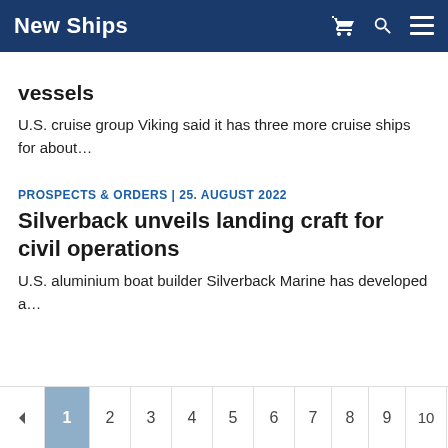New Ships
… vessels
U.S. cruise group Viking said it has three more cruise ships for about…
PROSPECTS & ORDERS | 25. AUGUST 2022
Silverback unveils landing craft for civil operations
U.S. aluminium boat builder Silverback Marine has developed a…
◄ 1 2 3 4 5 6 7 8 9 10 … ▲